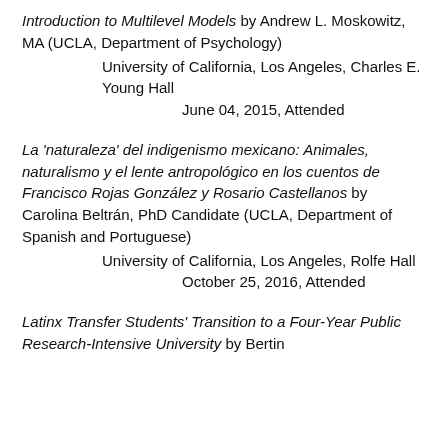Introduction to Multilevel Models by Andrew L. Moskowitz, MA (UCLA, Department of Psychology)
            University of California, Los Angeles, Charles E. Young Hall
                                June 04, 2015, Attended
La 'naturaleza' del indigenismo mexicano: Animales, naturalismo y el lente antropológico en los cuentos de Francisco Rojas González y Rosario Castellanos by Carolina Beltrán, PhD Candidate (UCLA, Department of Spanish and Portuguese)
            University of California, Los Angeles, Rolfe Hall
                                October 25, 2016, Attended
Latinx Transfer Students' Transition to a Four-Year Public Research-Intensive University by Bertin...